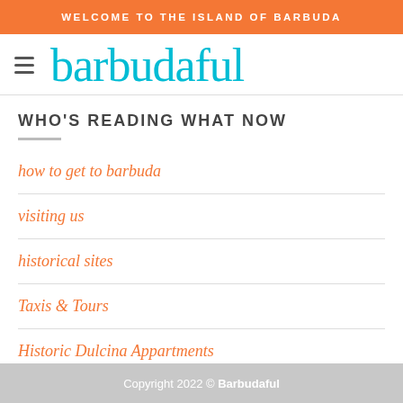WELCOME TO THE ISLAND OF BARBUDA
barbudaful
WHO'S READING WHAT NOW
how to get to barbuda
visiting us
historical sites
Taxis & Tours
Historic Dulcina Appartments
Copyright 2022 © Barbudaful